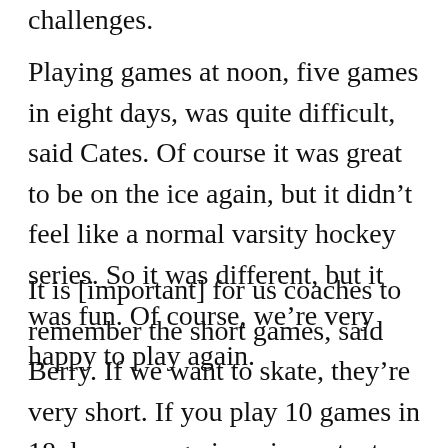challenges.
Playing games at noon, five games in eight days, was quite difficult, said Cates. Of course it was great to be on the ice again, but it didn't feel like a normal varsity hockey series. So it was different, but it was fun. Of course, we're very happy to play again.
It is [important] for us coaches to remember the short games, said Berry. If we want to skate, they're very short. If you play 10 games in 18 days, energy is an important issue. You have to be very flexible in how you organize your days and how you prepare for them, but